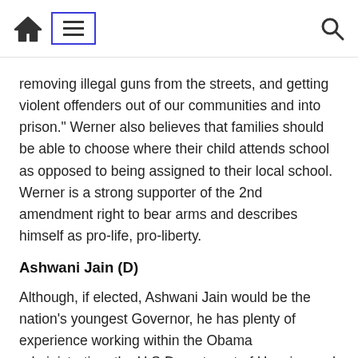[home icon] [menu icon] [search icon]
removing illegal guns from the streets, and getting violent offenders out of our communities and into prison.” Werner also believes that families should be able to choose where their child attends school as opposed to being assigned to their local school. Werner is a strong supporter of the 2nd amendment right to bear arms and describes himself as pro-life, pro-liberty.
Ashwani Jain (D)
Although, if elected, Ashwani Jain would be the nation’s youngest Governor, he has plenty of experience working within the Obama administration, the U.S Department of Housing and Urban Development, and the U.S Department of